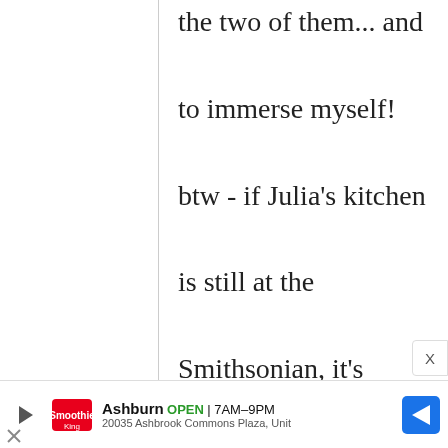the two of them... and to immerse myself! btw - if Julia's kitchen is still at the Smithsonian, it's SOOOO COOOOOL!
gexx
4 December, 2008 - 05:24
permalink
location
my bad.... Knoxville, TN, USA - if
Ashburn OPEN | 7AM–9PM
20035 Ashbrook Commons Plaza, Unit